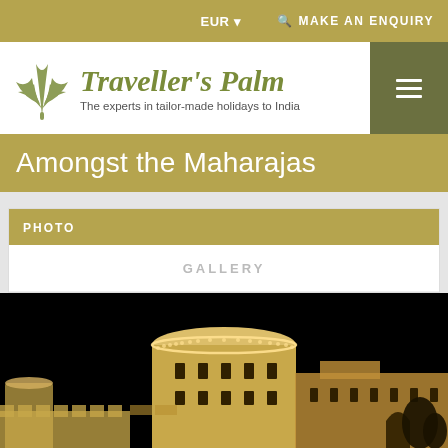EUR ▾   🔍 MAKE AN ENQUIRY
[Figure (logo): Traveller's Palm logo with palm leaf icon]
Traveller's Palm
The experts in tailor-made holidays to India
Amongst the Maharajas
PHOTO
GALLERY
[Figure (photo): Night-time photograph of an illuminated Indian fort/palace with cylindrical towers lit in golden light against a black sky]